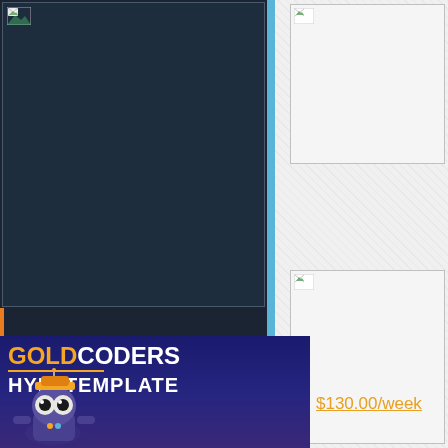[Figure (screenshot): Dark navy blue image placeholder on left panel]
[Figure (screenshot): Light gray image placeholder top-right]
[Figure (screenshot): Light gray image placeholder bottom-right]
[Figure (logo): GoldCoders HYIP Template branding box with robot mascot. Text: GOLDCODERS HYIP TEMPLATE]
$130.00/week